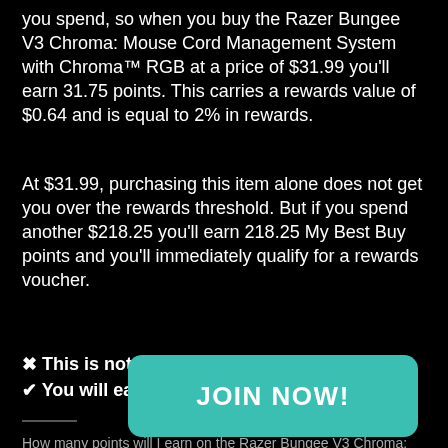you spend, so when you buy the Razer Bungee V3 Chroma: Mouse Cord Management System with Chroma™ RGB at a price of $31.99 you'll earn 31.75 points. This carries a rewards value of $0.64 and is equal to 2% in rewards.
At $31.99, purchasing this item alone does not get you over the rewards threshold. But if you spend another $218.25 you'll earn 218.25 My Best Buy points and you'll immediately qualify for a rewards voucher.
✖ This is not a rewards-earning purchase.
✔ You will earn 31.75 My Best Buy points.
How many points will I earn on the Razer Bungee V3 Chroma: Mouse Cord Management System with Chroma™ RGB as a My Best Bu...
[Figure (other): JOIN NOW! button overlay in teal/green color covering part of the footer text]